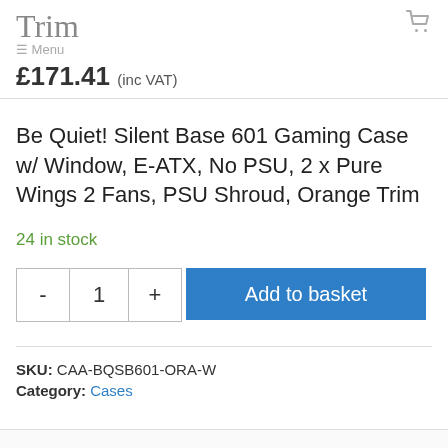Trim Menu
£171.41 (inc VAT)
Be Quiet! Silent Base 601 Gaming Case w/ Window, E-ATX, No PSU, 2 x Pure Wings 2 Fans, PSU Shroud, Orange Trim
24 in stock
- 1 + Add to basket
SKU: CAA-BQSB601-ORA-W
Category: Cases